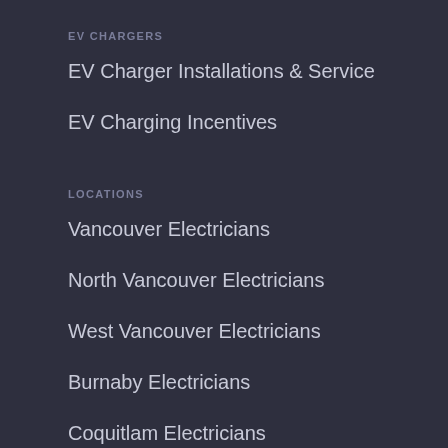EV CHARGERS
EV Charger Installations & Service
EV Charging Incentives
LOCATIONS
Vancouver Electricians
North Vancouver Electricians
West Vancouver Electricians
Burnaby Electricians
Coquitlam Electricians
New Westminster Electricians
Richmond Electricians